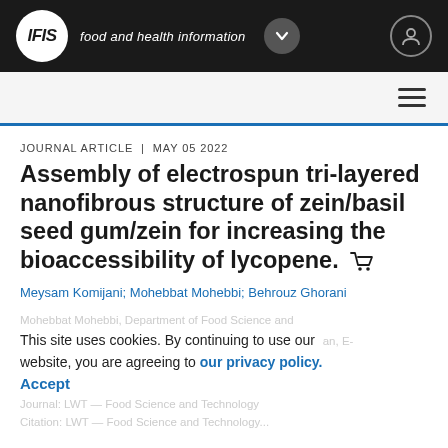IFIS food and health information
JOURNAL ARTICLE | MAY 05 2022
Assembly of electrospun tri-layered nanofibrous structure of zein/basil seed gum/zein for increasing the bioaccessibility of lycopene.
Meysam Komijani; Mohebbat Mohebbi; Behrouz Ghorani
This site uses cookies. By continuing to use our website, you are agreeing to our privacy policy. Accept
Journal: LWT — Food Science and Technology
Citation: LWT — Food Science and Technology...